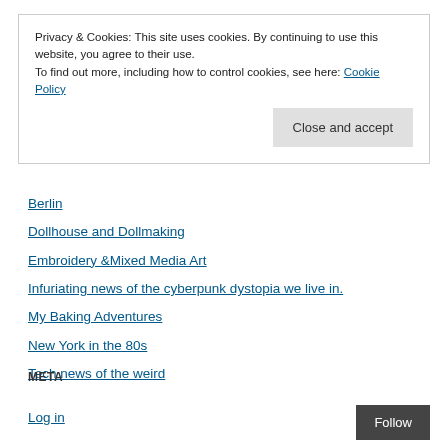Privacy & Cookies: This site uses cookies. By continuing to use this website, you agree to their use.
To find out more, including how to control cookies, see here: Cookie Policy
Close and accept
Berlin
Dollhouse and Dollmaking
Embroidery &Mixed Media Art
Infuriating news of the cyberpunk dystopia we live in.
My Baking Adventures
New York in the 80s
Tech news of the weird
META
Log in
Follow